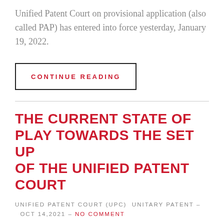Unified Patent Court on provisional application (also called PAP) has entered into force yesterday, January 19, 2022.
CONTINUE READING
THE CURRENT STATE OF PLAY TOWARDS THE SET UP OF THE UNIFIED PATENT COURT
UNIFIED PATENT COURT (UPC)  UNITARY PATENT – OCT 14, 2021 – NO COMMENT